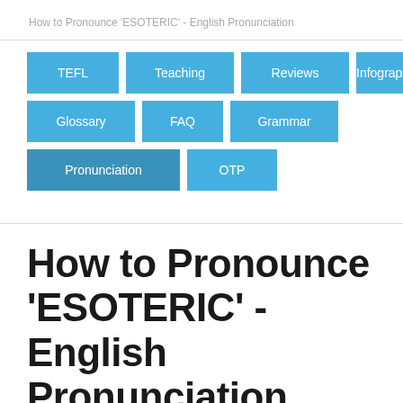How to Pronounce 'ESOTERIC' - English Pronunciation
[Figure (infographic): Navigation menu with blue button tiles: TEFL, Teaching, Reviews, Infographics, Glossary, FAQ, Grammar, Pronunciation, OTP]
How to Pronounce 'ESOTERIC' - English Pronunciation